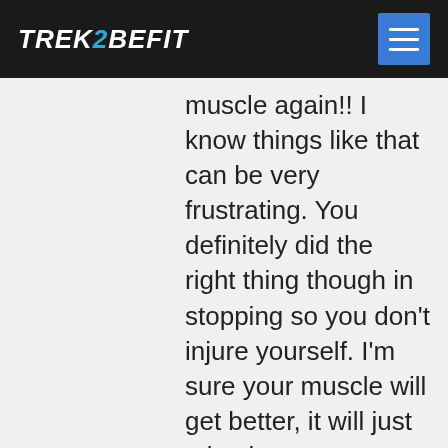[Figure (logo): Trek2BeFit logo in white and blue italic bold text on dark background, with hamburger menu icon (blue square with three white lines) on the right]
muscle again!! I know things like that can be very frustrating. You definitely did the right thing though in stopping so you don't injure yourself. I'm sure your muscle will get better, it will just take time.

Ab Ripper X is brutal! Good job with that workout! Yea, I was